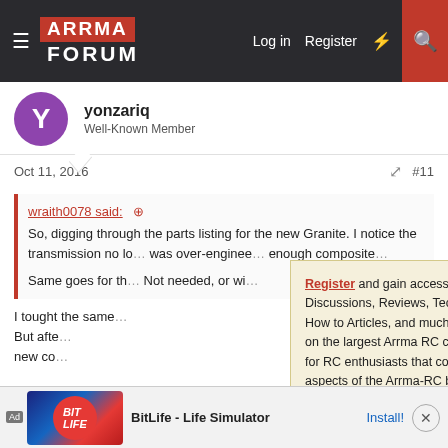ARRMA FORUM — Log in | Register
yonzariq
Well-Known Member
Oct 11, 2016  #11
wraith0078 said:
So, digging through the parts listing for the new Granite. I notice the transmission no lo... was over-enginee... enough composite...
Same goes for th... Not needed, or wi...
Register and gain access to Discussions, Reviews, Tech Tips, How to Articles, and much more - on the largest Arrma RC community for RC enthusiasts that covers all aspects of the Arrma-RC brand!

Register Today It's free! This box will disappear once registered!
I tought the same ...
But afte...
new co...
Ad  BitLife - Life Simulator  Install!